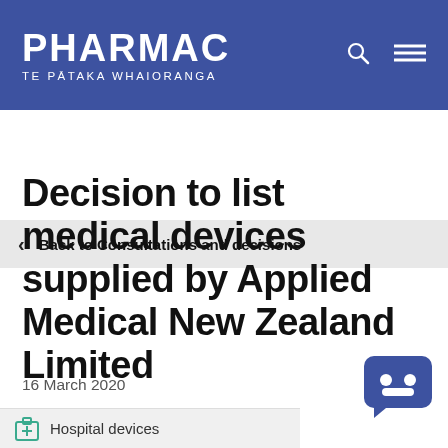PHARMAC TE PĀTAKA WHAIORANGA
Back to Consultations and decisions
Decision to list medical devices supplied by Applied Medical New Zealand Limited
16 March 2020
Hospital devices